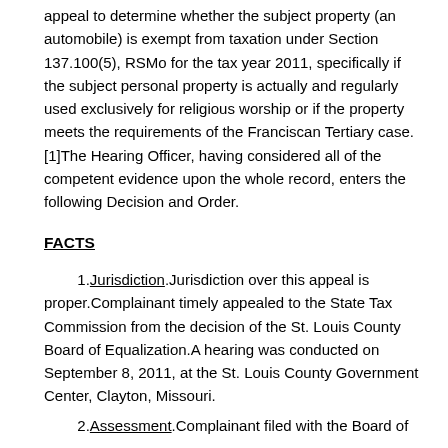appeal to determine whether the subject property (an automobile) is exempt from taxation under Section 137.100(5), RSMo for the tax year 2011, specifically if the subject personal property is actually and regularly used exclusively for religious worship or if the property meets the requirements of the Franciscan Tertiary case.[1]The Hearing Officer, having considered all of the competent evidence upon the whole record, enters the following Decision and Order.
FACTS
1. Jurisdiction. Jurisdiction over this appeal is proper. Complainant timely appealed to the State Tax Commission from the decision of the St. Louis County Board of Equalization. A hearing was conducted on September 8, 2011, at the St. Louis County Government Center, Clayton, Missouri.
2. Assessment. Complainant filed with the Board of